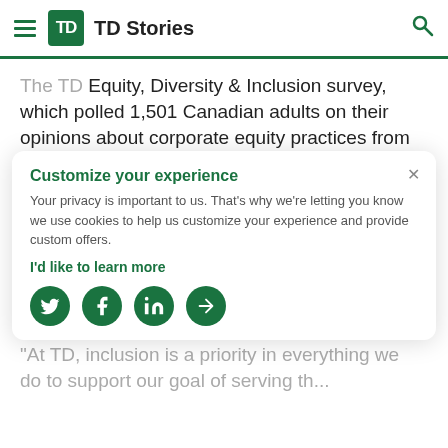TD Stories
The TD Equity, Diversity & Inclusion survey, which polled 1,501 Canadian adults on their opinions about corporate equity practices from May 3rd to 9th, 2022, reveals that inclusion has an indispensable role to play from the perspective of customers and employees: most Canadians polled prefer to do business with (71%) or work for (78%) businesses that have strong equity, inclusion, and diversity practices.
Customize your experience
Your privacy is important to us. That's why we're letting you know we use cookies to help us customize your experience and provide custom offers.
I'd like to learn more
"At TD, inclusion is a priority in everything we do to support our goal of serving th...